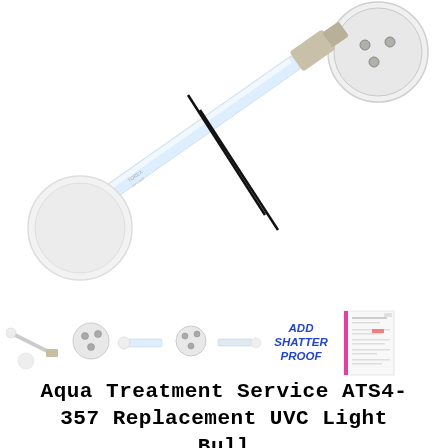[Figure (photo): Main product photo of an Aqua Treatment Service ATS4-357 replacement UVC light bulb. Shows a disassembled UV lamp with a long cylindrical quartz tube, two white circular end caps, one with metal prong connectors visible, and a beige/grey connector end. Two diagonal black lines cross the image suggesting a division/expansion of the lamp components.]
[Figure (photo): Row of thumbnail images showing the product kit components: lamp with connector, white end caps, quartz tube, end caps again, plain tube section, and single white disc. Also includes a blue italic text badge reading ADD SHATTER PROOF and a small thumbnail of a specification/data sheet.]
Aqua Treatment Service ATS4-357 Replacement UVC Light Bull